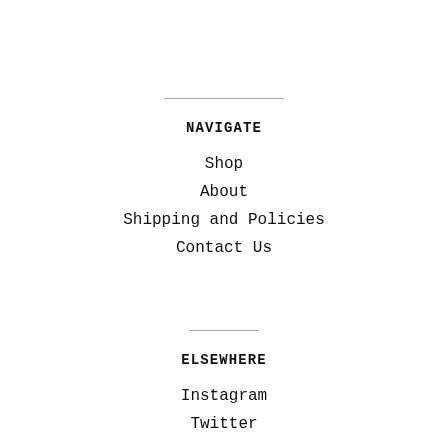NAVIGATE
Shop
About
Shipping and Policies
Contact Us
ELSEWHERE
Instagram
Twitter